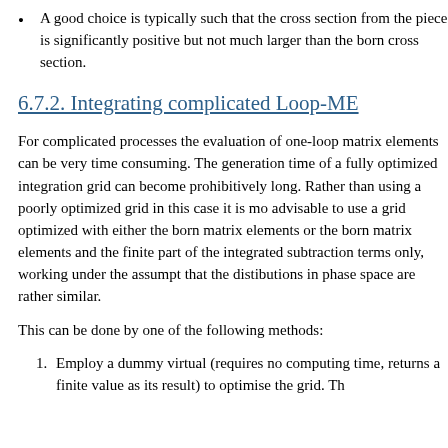A good choice is typically such that the cross section from the piece is significantly positive but not much larger than the born cross section.
6.7.2. Integrating complicated Loop-ME
For complicated processes the evaluation of one-loop matrix elements can be very time consuming. The generation time of a fully optimized integration grid can become prohibitively long. Rather than using a poorly optimized grid in this case it is more advisable to use a grid optimized with either the born matrix elements or the born matrix elements and the finite part of the integrated subtraction terms only, working under the assumption that the distibutions in phase space are rather similar.
This can be done by one of the following methods:
1. Employ a dummy virtual (requires no computing time, returns a finite value as its result) to optimise the grid. Th